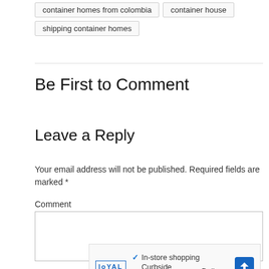container homes from colombia
container house
shipping container homes
Be First to Comment
Leave a Reply
Your email address will not be published. Required fields are marked *
Comment
[Figure (screenshot): Advertisement banner for Loyal showing in-store shopping, curbside pickup, and delivery options with a blue arrow navigation icon.]